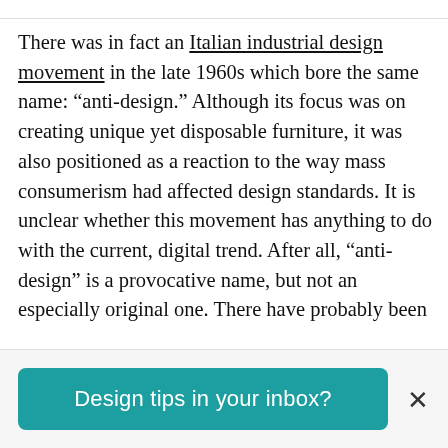There was in fact an Italian industrial design movement in the late 1960s which bore the same name: “anti-design.” Although its focus was on creating unique yet disposable furniture, it was also positioned as a reaction to the way mass consumerism had affected design standards. It is unclear whether this movement has anything to do with the current, digital trend. After all, “anti-design” is a provocative name, but not an especially original one. There have probably been
[Figure (other): Teal/green call-to-action button reading 'Design tips in your inbox?' with a close (X) button to the right, displayed in a bottom banner bar.]